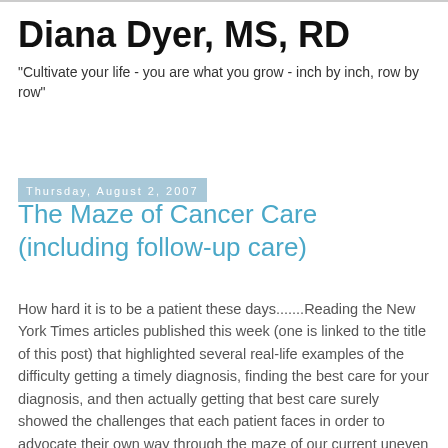Diana Dyer, MS, RD
"Cultivate your life - you are what you grow - inch by inch, row by row"
Thursday, August 2, 2007
The Maze of Cancer Care (including follow-up care)
How hard it is to be a patient these days.......Reading the New York Times articles published this week (one is linked to the title of this post) that highlighted several real-life examples of the difficulty getting a timely diagnosis, finding the best care for your diagnosis, and then actually getting that best care surely showed the challenges that each patient faces in order to advocate their own way through the maze of our current uneven (i.e., broken) health care and insurance system.